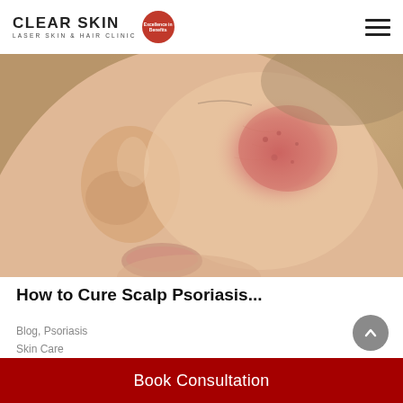CLEAR SKIN LASER SKIN & HAIR CLINIC
[Figure (photo): Close-up photo of a person's face with reddish skin irritation/psoriasis visible on the cheek, face tilted downward, warm beige background]
How to Cure Scalp Psoriasis...
Blog, Psoriasis
Skin Care
Jun 9, 2022
Book Consultation